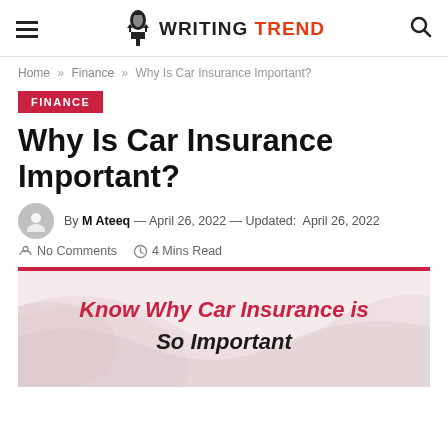WRITING TREND
Home » Finance » Why Is Car Insurance Important?
FINANCE
Why Is Car Insurance Important?
By M Ateeq — April 26, 2022 — Updated: April 26, 2022
No Comments  4 Mins Read
[Figure (illustration): Promotional banner with light pink/grey background with swoosh design elements and bold red and black italic text reading 'Know Why Car Insurance is So Important']